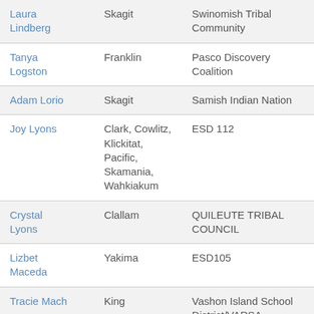| Name | County | Organization |
| --- | --- | --- |
| Laura Lindberg | Skagit | Swinomish Tribal Community |
| Tanya Logston | Franklin | Pasco Discovery Coalition |
| Adam Lorio | Skagit | Samish Indian Nation |
| Joy Lyons | Clark, Cowlitz, Klickitat, Pacific, Skamania, Wahkiakum | ESD 112 |
| Crystal Lyons | Clallam | QUILEUTE TRIBAL COUNCIL |
| Lizbet Maceda | Yakima | ESD105 |
| Tracie Mach | King | Vashon Island School District/VARSA |
| Jessica Maden | Whatcom | Communities In Schools of Whatcom |